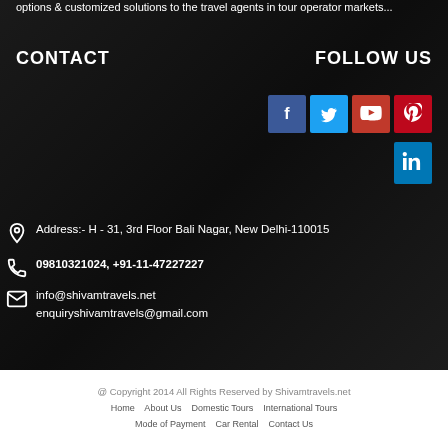options & customized solutions to the travel agents in tour operator markets...
CONTACT
FOLLOW US
[Figure (infographic): Social media icons: Facebook (blue), Twitter (cyan), YouTube (red), Pinterest (dark red), LinkedIn (blue)]
Address:- H - 31, 3rd Floor Bali Nagar, New Delhi-110015
09810321024, +91-11-47227227
info@shivamtravels.net
enquiryshivamtravels@gmail.com
@ Copyright 2014 All Rights Reserved by Shivamtravels.net
Home   About Us   Domestic Tours   International Tours   Mode of Payment   Car Rental   Contact Us